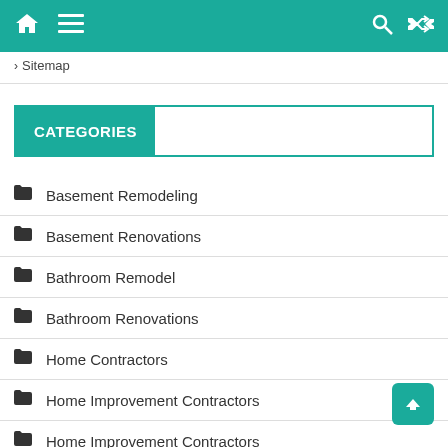Home | Menu | Search | Shuffle
> Sitemap
CATEGORIES
Basement Remodeling
Basement Renovations
Bathroom Remodel
Bathroom Renovations
Home Contractors
Home Improvement Contractors
Home Improvement Contractors
Home Maintenance